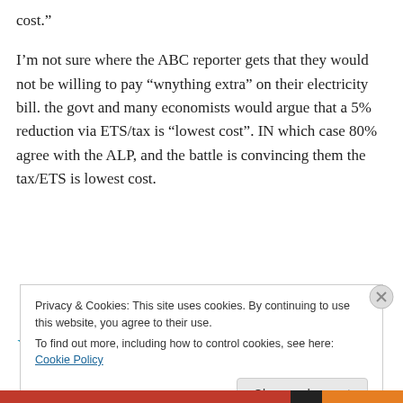cost.”
I’m not sure where the ABC reporter gets that they would not be willing to pay “wnything extra” on their electricity bill. the govt and many economists would argue that a 5% reduction via ETS/tax is “lowest cost”. IN which case 80% agree with the ALP, and the battle is convincing them the tax/ETS is lowest cost.
★ Like
Privacy & Cookies: This site uses cookies. By continuing to use this website, you agree to their use.
To find out more, including how to control cookies, see here: Cookie Policy
Close and accept